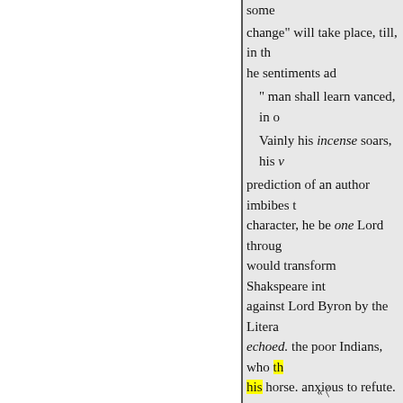some change" will take place, till, in th he sentiments ad " man shall learn vanced, in o Vainly his incense soars, his v prediction of an author imbibes t character, he be one Lord throug would transform Shakspeare int against Lord Byron by the Litera echoed. the poor Indians, who th his horse. anxious to refute. Coi scholar well if so, considering ex conveying his less degree, has b writers, and "even God forbid th ut justice to the subject" it may bability." The 143d number of J Christian, and all of whose senti must some admirable remarks o investigation classics, and many e.
« []